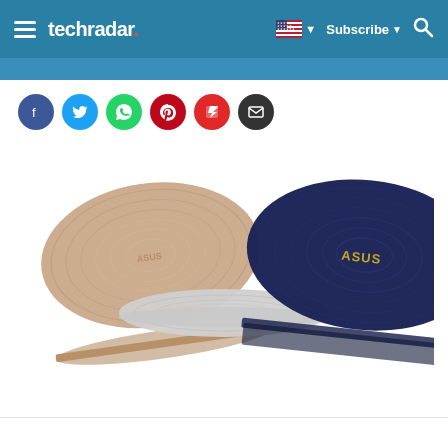techradar | Subscribe | Search
[Figure (screenshot): Social sharing icons row: Facebook (blue), Twitter (light blue), WhatsApp (green), Pinterest (red), Flipboard (red), Email (dark grey)]
[Figure (photo): Three ASUS ZenBook laptops shown from the back at an angle: rose gold (left), silver (center, closed), and dark navy blue (right), all showing the ASUS logo and circular brushed metal pattern on the lids.]